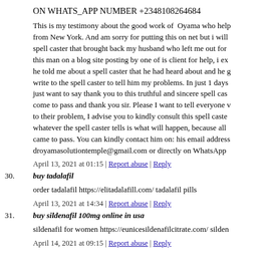ON WHATS_APP NUMBER +2348108264684
This is my testimony about the good work of Oyama who help from New York. And am sorry for putting this on net but i will spell caster that brought back my husband who left me out for this man on a blog site posting by one of is client for help, i ex he told me about a spell caster that he had heard about and he g write to the spell caster to tell him my problems. In just 1 days just want to say thank you to this truthful and sincere spell cas come to pass and thank you sir. Please I want to tell everyone v to their problem, I advise you to kindly consult this spell caste whatever the spell caster tells is what will happen, because all came to pass. You can kindly contact him on: his email address droyamasolutiontemple@gmail.com or directly on WhatsApp
April 13, 2021 at 01:15 | Report abuse | Reply
30. buy tadalafil
order tadalafil https://elitadalafill.com/ tadalafil pills
April 13, 2021 at 14:34 | Report abuse | Reply
31. buy sildenafil 100mg online in usa
sildenafil for women https://eunicesildenafilcitrate.com/ silden
April 14, 2021 at 09:15 | Report abuse | Reply